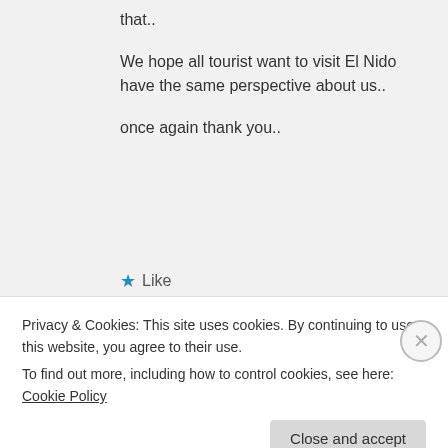that..

We hope all tourist want to visit El Nido have the same perspective about us..

once again thank you..
★ Like
tokyomike55 on November 24, 2014 at 4:41 pm
Privacy & Cookies: This site uses cookies. By continuing to use this website, you agree to their use.
To find out more, including how to control cookies, see here: Cookie Policy
Close and accept